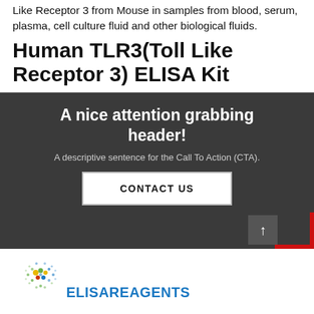Like Receptor 3 from Mouse in samples from blood, serum, plasma, cell culture fluid and other biological fluids.
Human TLR3(Toll Like Receptor 3) ELISA Kit
A nice attention grabbing header!
A descriptive sentence for the Call To Action (CTA).
CONTACT US
[Figure (logo): ELISAREAGENTS logo with colorful dot circle icon and blue text]